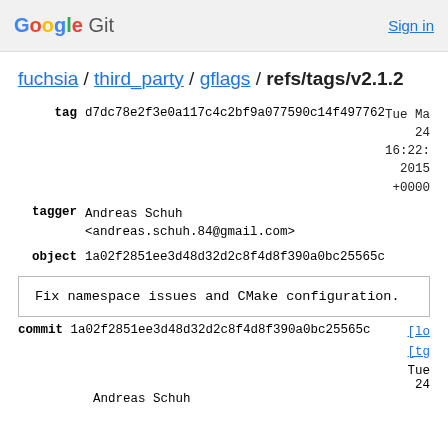Google Git   Sign in
fuchsia / third_party / gflags / refs/tags/v2.1.2
| tag | d7dc78e2f3e0a117c4c2bf9a077590c14f497762 | Tue Ma
24
16:22:
2015
+0000 |
| tagger | Andreas Schuh
<andreas.schuh.84@gmail.com> |  |
| object | 1a02f2851ee3d48d32d2c8f4d8f390a0bc25565c |  |
Fix namespace issues and CMake configuration.
commit  1a02f2851ee3d48d32d2c8f4d8f390a0bc25565c  [lo [tg
Tue
24
Andreas Schuh